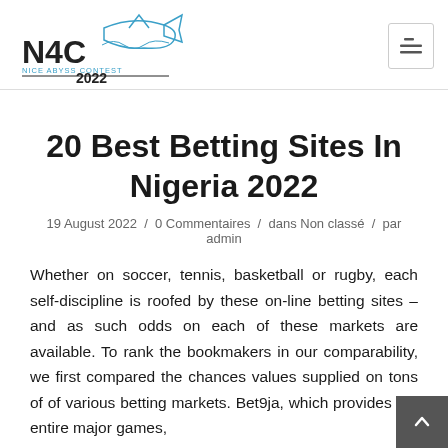N4C Nice Abyss Contest 2022
20 Best Betting Sites In Nigeria 2022
19 August 2022 / 0 Commentaires / dans Non classé / par admin
Whether on soccer, tennis, basketball or rugby, each self-discipline is roofed by these on-line betting sites – and as such odds on each of these markets are available. To rank the bookmakers in our comparability, we first compared the chances values supplied on tons of of various betting markets. Bet9ja, which provides the entire major games,